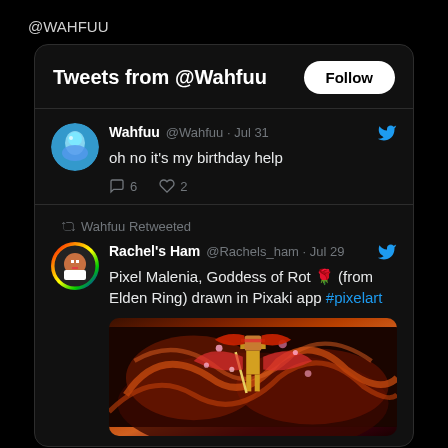@WAHFUU
Tweets from @Wahfuu
Wahfuu @Wahfuu · Jul 31
oh no it's my birthday help
◯ 6  ♡ 2
Wahfuu Retweeted
Rachel's Ham @Rachels_ham · Jul 29
Pixel Malenia, Goddess of Rot 🌹 (from Elden Ring) drawn in Pixaki app #pixelart